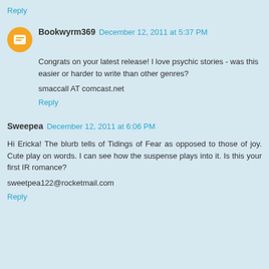Reply
Bookwyrm369  December 12, 2011 at 5:37 PM
Congrats on your latest release! I love psychic stories - was this easier or harder to write than other genres?
smaccall AT comcast.net
Reply
Sweepea  December 12, 2011 at 6:06 PM
Hi Ericka! The blurb tells of Tidings of Fear as opposed to those of joy. Cute play on words. I can see how the suspense plays into it. Is this your first IR romance?
sweetpea122@rocketmail.com
Reply